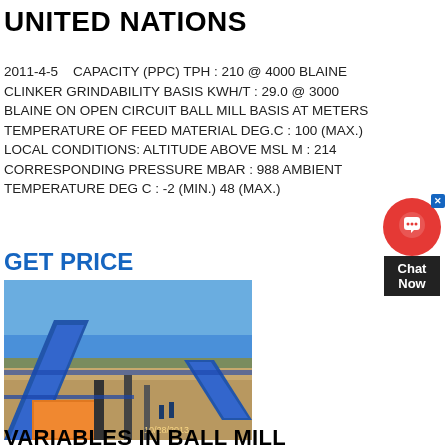UNITED NATIONS
2011-4-5    CAPACITY (PPC) TPH : 210 @ 4000 BLAINE CLINKER GRINDABILITY BASIS KWH/T : 29.0 @ 3000 BLAINE ON OPEN CIRCUIT BALL MILL BASIS AT METERS TEMPERATURE OF FEED MATERIAL DEG.C : 100 (MAX.) LOCAL CONDITIONS: ALTITUDE ABOVE MSL M : 214 CORRESPONDING PRESSURE MBAR : 988 AMBIENT TEMPERATURE DEG C : -2 (MIN.) 48 (MAX.)
GET PRICE
[Figure (photo): Outdoor industrial ball mill / conveyor facility with blue conveyor belts, orange equipment, and open sky background. Date stamp: 10/28/2013]
VARIABLES IN BALL MILL